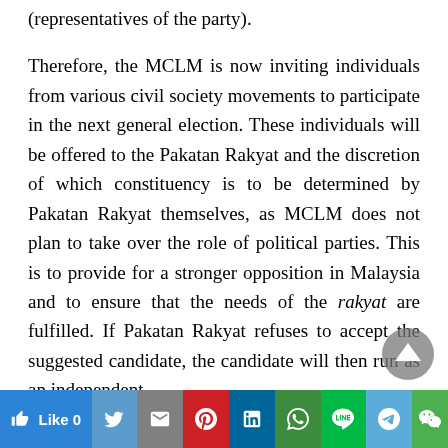(representatives of the party).
Therefore, the MCLM is now inviting individuals from various civil society movements to participate in the next general election. These individuals will be offered to the Pakatan Rakyat and the discretion of which constituency is to be determined by Pakatan Rakyat themselves, as MCLM does not plan to take over the role of political parties. This is to provide for a stronger opposition in Malaysia and to ensure that the needs of the rakyat are fulfilled. If Pakatan Rakyat refuses to accept the suggested candidate, the candidate will then run as an independent.
Like 0 | Twitter | Gmail | Pinterest | LinkedIn | WhatsApp | Line | Telegram | WeChat